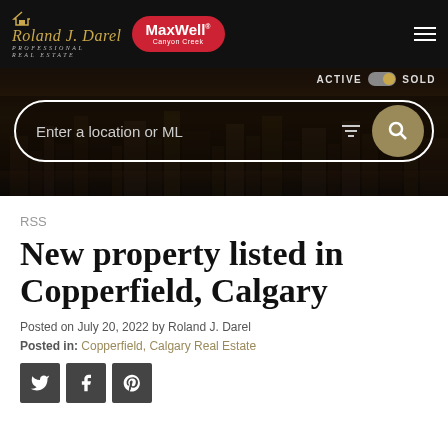[Figure (screenshot): Website header with Roland J. Darel Professional Real Estate logo, MaxWell Canyon Creek red oval logo, hamburger menu icon, ACTIVE/SOLD toggle, and a search bar with placeholder text 'Enter a location or ML', filter icon, and gold search button, all overlaid on a dark city skyline background.]
RSS
New property listed in Copperfield, Calgary
Posted on July 20, 2022 by Roland J. Darel
Posted in: Copperfield, Calgary Real Estate
[Figure (infographic): Three social sharing buttons: Twitter (bird icon), Facebook (f icon), Pinterest (p icon), each dark grey square.]